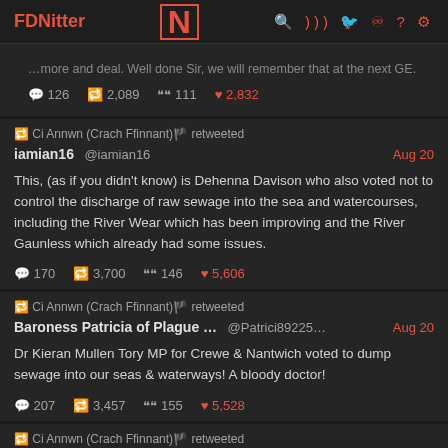FDNitter | N | (nav icons)
…more and deal. Well done Sir, we will remember that at the next GE.
💬 126  🔁 2,089  ❝ 111  ♥ 2,832
🔁 Ci Annwn (Crach Ffinnant)🏴󠁧󠁢󠁷󠁬󠁳󠁿🏴 retweeted
iamian16 @iamian16  Aug 20
This, (as if you didn't know) is Dehenna Davison who also voted not to control the discharge of raw sewage into the sea and watercourses, including the River Wear which has been improving and the River Gaunless which already had some issues.
💬 170  🔁 3,700  ❝ 146  ♥ 5,606
🔁 Ci Annwn (Crach Ffinnant)🏴󠁧󠁢󠁷󠁬󠁳󠁿🏴 retweeted
Baroness Patricia of Plague … @Patrici89225… Aug 20
Dr Kieran Mullen Tory MP for Crewe & Nantwich voted to dump sewage into our seas & waterways! A bloody doctor!
💬 207  🔁 3,457  ❝ 155  ♥ 5,528
🔁 Ci Annwn (Crach Ffinnant)🏴󠁧󠁢󠁷󠁬󠁳󠁿🏴 retweeted